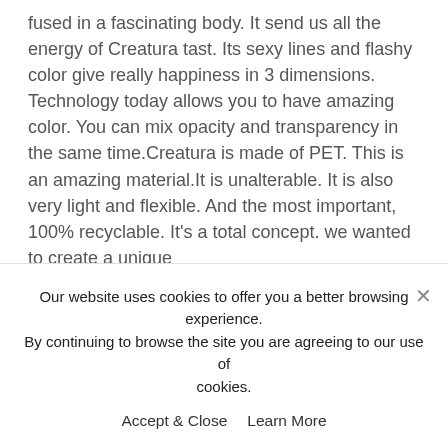fused in a fascinating body. It send us all the energy of Creatura tast. Its sexy lines and flashy color give really happiness in 3 dimensions. Technology today allows you to have amazing color. You can mix opacity and transparency in the same time.Creatura is made of PET. This is an amazing material.It is unalterable. It is also very light and flexible. And the most important, 100% recyclable. It's a total concept. we wanted to create a unique
Our website uses cookies to offer you a better browsing experience. By continuing to browse the site you are agreeing to our use of cookies.
Accept & Close    Learn More